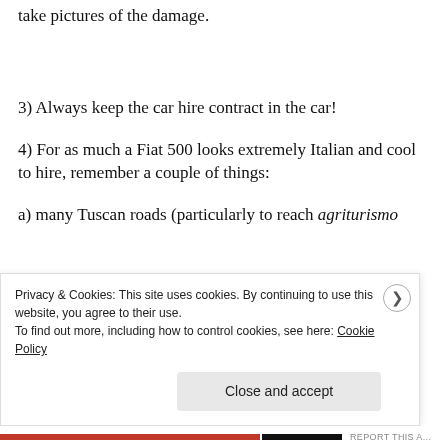take pictures of the damage.
3) Always keep the car hire contract in the car!
4) For as much a Fiat 500 looks extremely Italian and cool to hire, remember a couple of things:
a) many Tuscan roads (particularly to reach agriturismo
Privacy & Cookies: This site uses cookies. By continuing to use this website, you agree to their use.
To find out more, including how to control cookies, see here: Cookie Policy
Close and accept